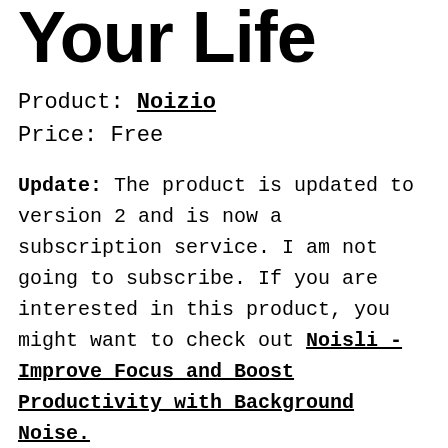Your Life
Product: Noizio
Price: Free
Update: The product is updated to version 2 and is now a subscription service. I am not going to subscribe. If you are interested in this product, you might want to check out Noisli - Improve Focus and Boost Productivity with Background Noise.